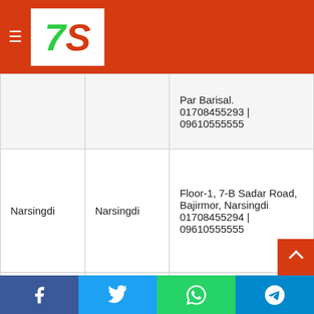7S logo and navigation header
| District | Upazila | Address & Contact |
| --- | --- | --- |
|  |  | Par Barisal.
01708455293 | 09610555555 |
| Narsingdi | Narsingdi | Floor-1, 7-B Sadar Road, Bajirmor, Narsingdi
01708455294 | 09610555555 |
| Faridpur | Faridpur | 1st Floor, Rakibuddin Pouro Biponi Bitan, Goalchamat... |
Facebook | Twitter | WhatsApp | Telegram share buttons